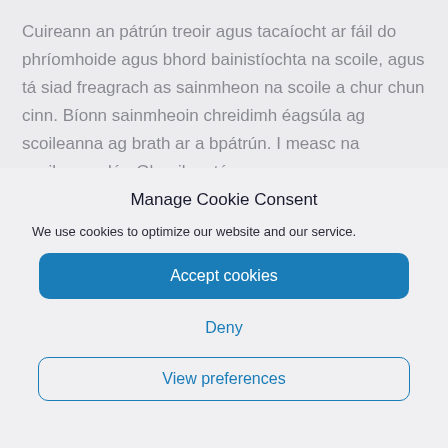Cuireann an pátrún treoir agus tacaíocht ar fáil do phríomhoide agus bhord bainistíochta na scoile, agus tá siad freagrach as sainmheon na scoile a chur chun cinn. Bíonn sainmheoin chreidimh éagsúla ag scoileanna ag brath ar a bpátrún. I measc na scoileanna lán-Ghaeilge, tá
Manage Cookie Consent
We use cookies to optimize our website and our service.
Accept cookies
Deny
View preferences